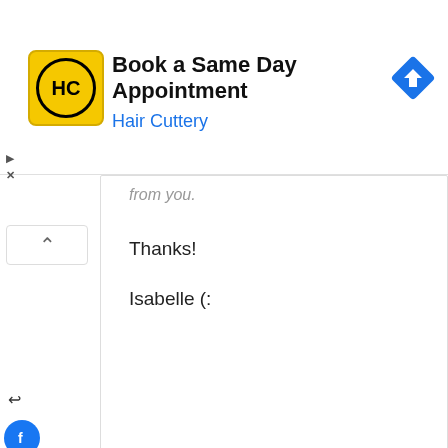[Figure (screenshot): Hair Cuttery advertisement banner: yellow square logo with HC initials in circle, text 'Book a Same Day Appointment' and 'Hair Cuttery' in blue, blue diamond arrow icon on right]
from you.
Thanks!
Isabelle (:
8 years ago
CARSON WELBORN
why? I have taken two acting courses and have learned about my abilities and confident them. I would like to be in this move because I believe it would be good experience. I listen to instruction